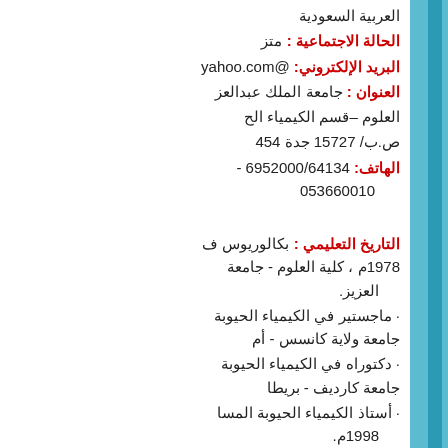العربية السعودية
الحالة الاجتماعية : متزو
البريد الإلكتروني: @yahoo.com
العنوان : جامعة الملك عبدالعز
العلوم –قسم الكيمياء الح
ص.ب/ 15727 جدة 454
الهاتف: 6952000/64134 - 053660010
التاريخ التعليمي : بكالوريوس ف 1978م ، كلية العلوم - جامعة العزيز.
· ماجستير في الكيمياء الحيوبة جامعة ولاية كانسس - أم
· دكتوراه في الكيمياء الحيوبة جامعة كارديف - بريطا
· أستاذ الكيمياء الحيوبة المسا 1998م.
· أستاذ الكيمياء الحيوبة المشار